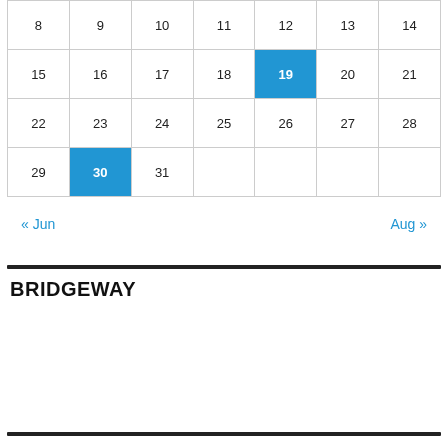| Sun | Mon | Tue | Wed | Thu | Fri | Sat |
| --- | --- | --- | --- | --- | --- | --- |
| 8 | 9 | 10 | 11 | 12 | 13 | 14 |
| 15 | 16 | 17 | 18 | 19* | 20 | 21 |
| 22 | 23 | 24 | 25 | 26 | 27 | 28 |
| 29 | 30* | 31 |  |  |  |  |
« Jun    Aug »
BRIDGEWAY